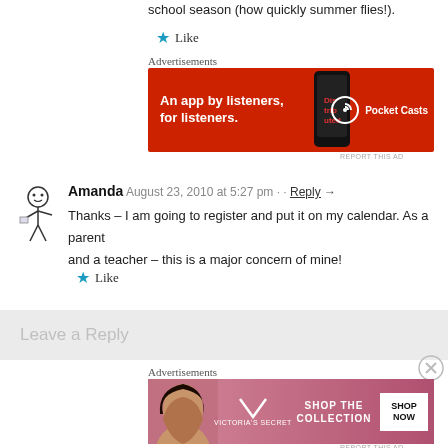school season (how quickly summer flies!).
Like
Advertisements
[Figure (screenshot): Red Pocket Casts advertisement banner: 'An app by listeners, for listeners.' with phone image and Pocket Casts logo]
REPORT THIS AD
Amanda  August 23, 2010 at 5:27 pm · · Reply →
Thanks – I am going to register and put it on my calendar. As a parent and a teacher – this is a major concern of mine!
Like
Leave a Reply
Advertisements
[Figure (screenshot): Victoria's Secret pink advertisement: 'SHOP THE COLLECTION' with 'SHOP NOW' button]